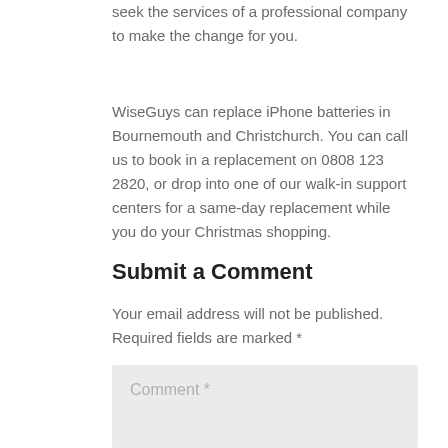seek the services of a professional company to make the change for you.
WiseGuys can replace iPhone batteries in Bournemouth and Christchurch. You can call us to book in a replacement on 0808 123 2820, or drop into one of our walk-in support centers for a same-day replacement while you do your Christmas shopping.
Submit a Comment
Your email address will not be published. Required fields are marked *
Comment *